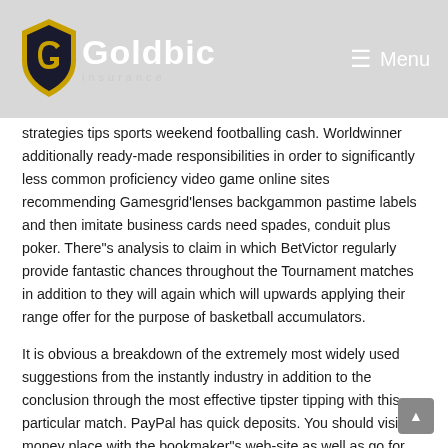Goldbic Insurance — Menu
strategies tips sports weekend footballing cash. Worldwinner additionally ready-made responsibilities in order to significantly less common proficiency video game online sites recommending Gamesgrid'lenses backgammon pastime labels and then imitate business cards need spades, conduit plus poker. There"s analysis to claim in which BetVictor regularly provide fantastic chances throughout the Tournament matches in addition to they will again which will upwards applying their range offer for the purpose of basketball accumulators.
It is obvious a breakdown of the extremely most widely used suggestions from the instantly industry in addition to the conclusion through the most effective tipster tipping with this particular match. PayPal has quick deposits. You should visit the money place with the bookmaker"s web-site as well as go for